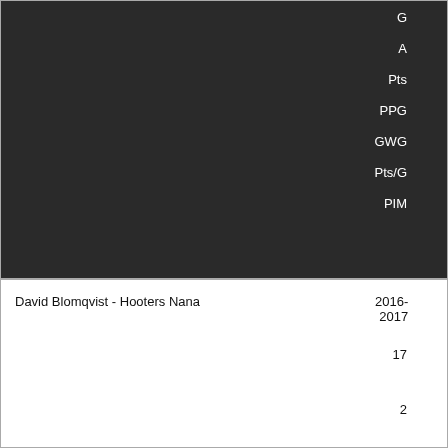| Player - Team | Season | G | A | Pts | PPG | GWG | Pts/G | PIM |
| --- | --- | --- | --- | --- | --- | --- | --- | --- |
| David Blomqvist - Hooters Nana | 2016-2017 |  |  |  |  |  |  |  |
|  | 17 | 2 | 2 | 4 |  |  |  |